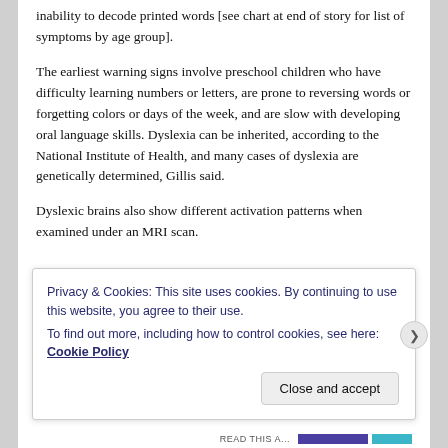inability to decode printed words [see chart at end of story for list of symptoms by age group].
The earliest warning signs involve preschool children who have difficulty learning numbers or letters, are prone to reversing words or forgetting colors or days of the week, and are slow with developing oral language skills. Dyslexia can be inherited, according to the National Institute of Health, and many cases of dyslexia are genetically determined, Gillis said.
Dyslexic brains also show different activation patterns when examined under an MRI scan.
[partial text cut off]
Privacy & Cookies: This site uses cookies. By continuing to use this website, you agree to their use.
To find out more, including how to control cookies, see here: Cookie Policy